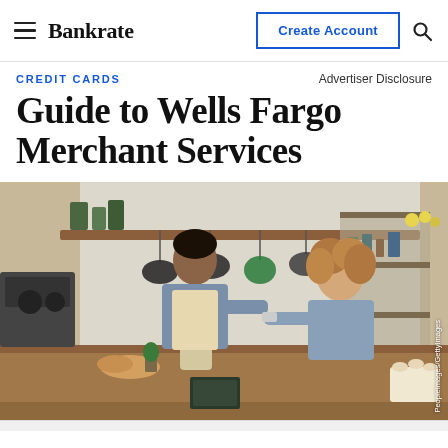Bankrate | Create Account
CREDIT CARDS
Advertiser Disclosure
Guide to Wells Fargo Merchant Services
[Figure (photo): A male barista in an apron smiles and hands something to a female customer with curly hair in a cafe/kitchen shop setting with shelves of goods and hanging pots in the background. Photo credit: PeopleImages/GettyImages]